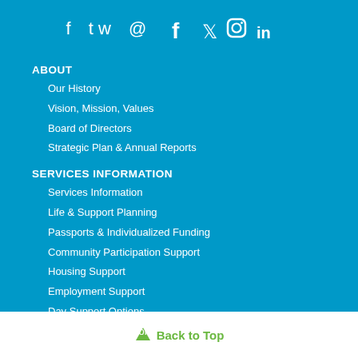[Figure (other): Social media icons: Facebook, Twitter, Instagram, LinkedIn]
ABOUT
Our History
Vision, Mission, Values
Board of Directors
Strategic Plan & Annual Reports
SERVICES INFORMATION
Services Information
Life & Support Planning
Passports & Individualized Funding
Community Participation Support
Housing Support
Employment Support
Day Support Options
Family Respite Options
EVENTS
Back to Top